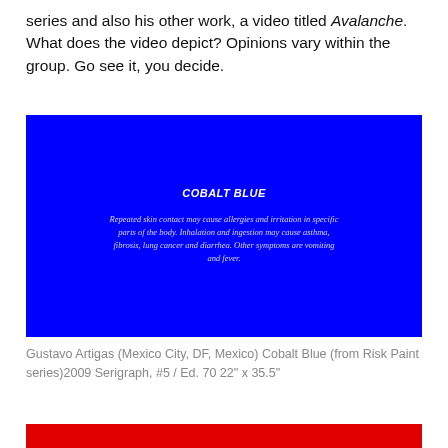series and also his other work, a video titled Avalanche. What does the video depict? Opinions vary within the group. Go see it, you decide.
[Figure (photo): Blue rectangle artwork showing 'COBALT BLUE' in bold italic white text with warning text below: 'Repeated skin contact may cause allergies and irritation in specific parts of the body. Inhalation and ingestion may cause asthma, fibrosis, lung cancer and diarrhea. Other symptoms are vomiting and fever.']
Gustavo Artigas (Mexico City, DF, Mexico) Cobalt Blue (from Risk Paint series)2009 Serigraph, #5 / Ed. 70 22" x 35.5"